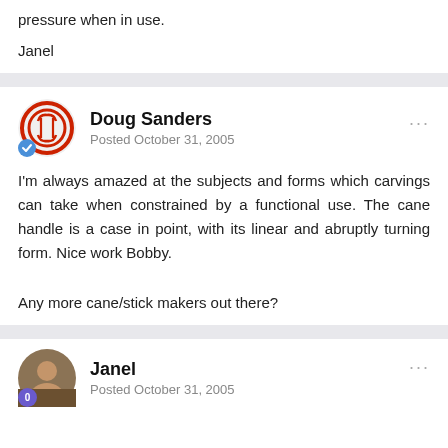pressure when in use.
Janel
Doug Sanders
Posted October 31, 2005
I'm always amazed at the subjects and forms which carvings can take when constrained by a functional use. The cane handle is a case in point, with its linear and abruptly turning form. Nice work Bobby.
Any more cane/stick makers out there?
Janel
Posted October 31, 2005